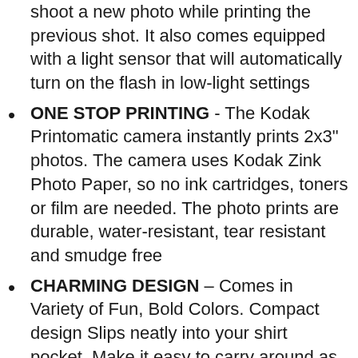shoot a new photo while printing the previous shot. It also comes equipped with a light sensor that will automatically turn on the flash in low-light settings
ONE STOP PRINTING - The Kodak Printomatic camera instantly prints 2x3" photos. The camera uses Kodak Zink Photo Paper, so no ink cartridges, toners or film are needed. The photo prints are durable, water-resistant, tear resistant and smudge free
CHARMING DESIGN – Comes in Variety of Fun, Bold Colors. Compact design Slips neatly into your shirt pocket. Make it easy to carry around as you go about your day, ensuring you always have Your Printomatic with you